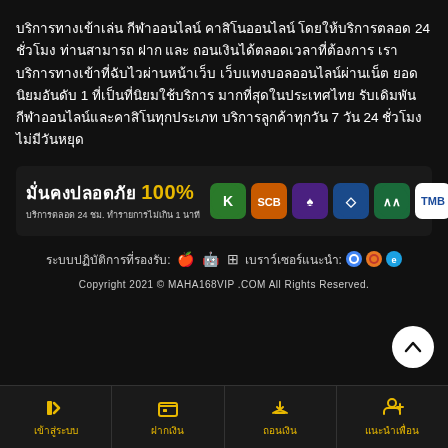บริการทางเข้าเล่น กีฬาออนไลน์ คาสิโนออนไลน์ โดยให้บริการตลอด 24 ชั่วโมง ท่านสามารถ ฝาก และ ถอนเงินได้ตลอดเวลาที่ต้องการ เราบริการทางเข้าที่ฉับไวผ่านหน้าเว็บ เว็บแทงบอลออนไลน์ผ่านเน็ต ยอดนิยมอันดับ 1 ที่เป็นที่นิยมใช้บริการ มากที่สุดในประเทศไทย รับเดิมพันกีฬาออนไลน์และคาสิโนทุกประเภท บริการลูกค้าทุกวัน 7 วัน 24 ชั่วโมง ไม่มีวันหยุด
[Figure (infographic): มั่นคงปลอดภัย 100% banner with bank icons (Kasikorn, SCB, TTB, KBANK, Krungsri, TMB) and text: บริการตลอด 24 ชม. ทำรายการไม่เกิน 1 นาที]
ระบบปฏิบัติการที่รองรับ: Apple iOS, Android, Windows เบราว์เซอร์แนะนำ: Chrome, Firefox, Internet Explorer
Copyright 2021 © MAHA168VIP .COM All Rights Reserved.
เข้าสู่ระบบ
ฝากเงิน
ถอนเงิน
แนะนำเพื่อน